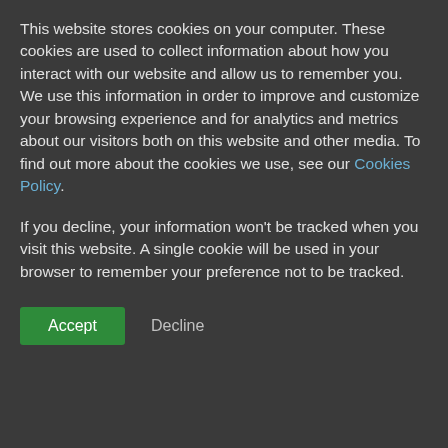This website stores cookies on your computer. These cookies are used to collect information about how you interact with our website and allow us to remember you. We use this information in order to improve and customize your browsing experience and for analytics and metrics about our visitors both on this website and other media. To find out more about the cookies we use, see our Cookies Policy.
If you decline, your information won't be tracked when you visit this website. A single cookie will be used in your browser to remember your preference not to be tracked.
Accept | Decline
CP: Medicinal & Pharmaceutical Products
Try Now   Explore our Data